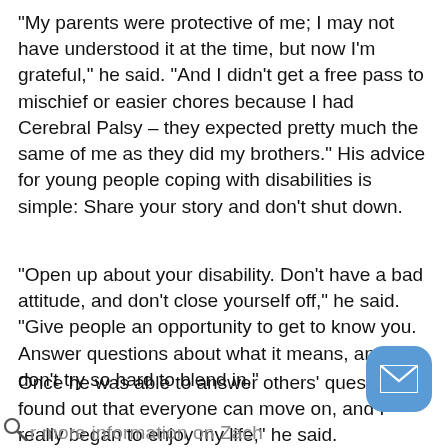“My parents were protective of me; I may not have understood it at the time, but now I’m grateful,” he said. “And I didn’t get a free pass to mischief or easier chores because I had Cerebral Palsy – they expected pretty much the same of me as they did my brothers.” His advice for young people coping with disabilities is simple: Share your story and don’t shut down.
“Open up about your disability. Don’t have a bad attitude, and don’t close yourself off,” he said. “Give people an opportunity to get to know you. Answer questions about what it means, and don’t try so hard to blend in.”
Once he was able to answer others’ questions, “I found out that everyone can move on, and I really bega… enjoy my life,” he said.
r more information on Zach